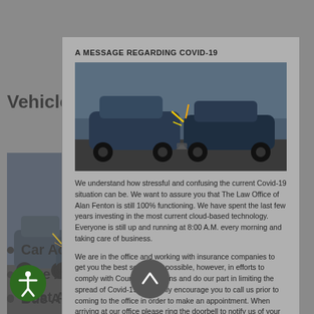Vehicle Accidents
[Figure (photo): Car crash accident photo showing damaged vehicles]
Car Accident
Bike Accident
Boat Accident
Bus Accident
Drunk Driving Accident
A MESSAGE REGARDING COVID-19
We understand how stressful and confusing the current Covid-19 situation can be. We want to assure you that The Law Office of Alan Fenton is still 100% functioning. We have spent the last few years investing in the most current cloud-based technology. Everyone is still up and running at 8:00 A.M. every morning and taking care of business.
We are in the office and working with insurance companies to get you the best settlement possible, however, in efforts to comply with County regulations and do our part in limiting the spread of Covid-19, we highly encourage you to call us prior to coming to the office in order to make an appointment. When arriving at our office please ring the doorbell to notify us of your arrival. Much of our required documentation can be completed via DocuSign or sent via email and our staff will be happy to walk you through this process.
If you have any questions or concerns, please do not hesitate to contact us by phone or email.